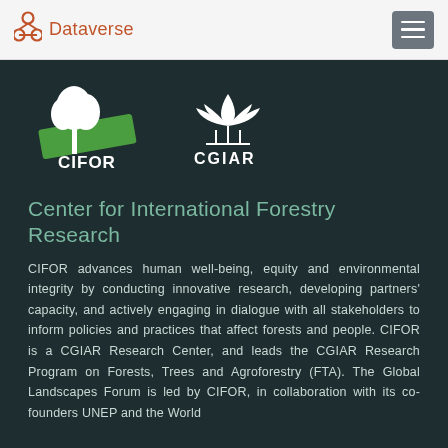Dataverse
[Figure (logo): CIFOR logo — white tree with green diagonal slash background and CIFOR text, plus CGIAR logo — white wheat/flame emblem with CGIAR text, on dark background]
Center for International Forestry Research
CIFOR advances human well-being, equity and environmental integrity by conducting innovative research, developing partners' capacity, and actively engaging in dialogue with all stakeholders to inform policies and practices that affect forests and people. CIFOR is a CGIAR Research Center, and leads the CGIAR Research Program on Forests, Trees and Agroforestry (FTA). The Global Landscapes Forum is led by CIFOR, in collaboration with its co-founders UNEP and the World